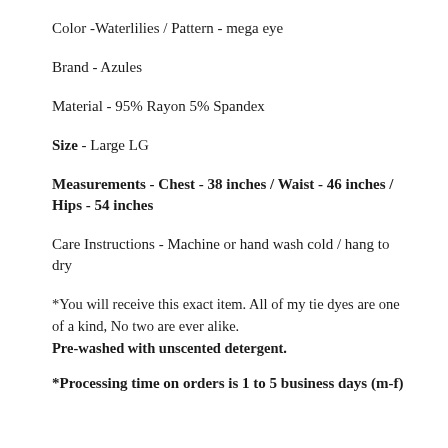Color -Waterlilies / Pattern - mega eye
Brand - Azules
Material - 95% Rayon 5% Spandex
Size - Large LG
Measurements - Chest - 38 inches / Waist - 46 inches / Hips - 54 inches
Care Instructions - Machine or hand wash cold / hang to dry
*You will receive this exact item. All of my tie dyes are one of a kind, No two are ever alike.
Pre-washed with unscented detergent.
*Processing time on orders is 1 to 5 business days (m-f)